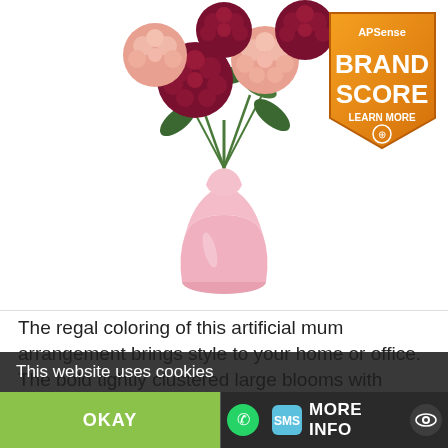[Figure (photo): Artificial mum flower arrangement in a pink vase with dark red and pink blooms and green leaves on a white background. An APSense Brand Score badge is in the top right corner.]
The regal coloring of this artificial mum arrangement brings style to your home or office. The bold tightly clustered large blooms with delicate leaves underneath have a posh bouquet and vase brighten the
This website uses cookies
OKAY
MORE INFO